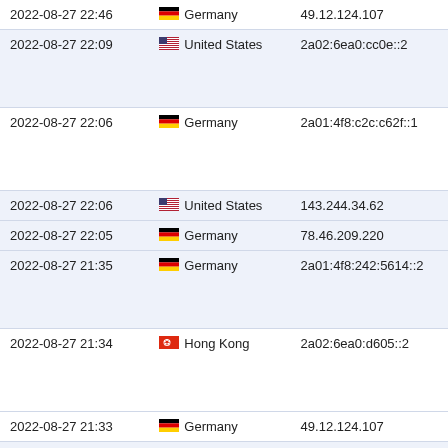| Date/Time | Country | IP Address |
| --- | --- | --- |
| 2022-08-27 22:46 | Germany | 49.12.124.107 |
| 2022-08-27 22:09 | United States | 2a02:6ea0:cc0e::2 |
| 2022-08-27 22:06 | Germany | 2a01:4f8:c2c:c62f::1 |
| 2022-08-27 22:06 | United States | 143.244.34.62 |
| 2022-08-27 22:05 | Germany | 78.46.209.220 |
| 2022-08-27 21:35 | Germany | 2a01:4f8:242:5614::2 |
| 2022-08-27 21:34 | Hong Kong | 2a02:6ea0:d605::2 |
| 2022-08-27 21:33 | Germany | 49.12.124.107 |
| 2022-08-27 21:32 | Hong Kong | 84.17.57.98 |
| 2022-08-27 21:22 | Czechia | 2a02:6ea0:c237::2 |